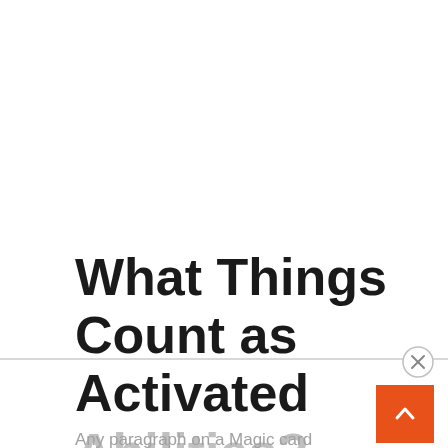What Things Count as Activated Abilities?
Any paragraph on a Magic card